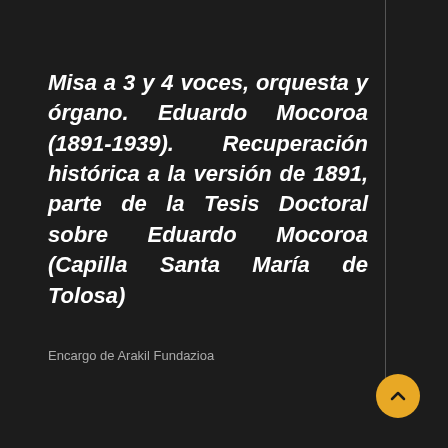Misa a 3 y 4 voces, orquesta y órgano. Eduardo Mocoroa (1891-1939). Recuperación histórica a la versión de 1891, parte de la Tesis Doctoral sobre Eduardo Mocoroa (Capilla Santa María de Tolosa)
Encargo de Arakil Fundazioa